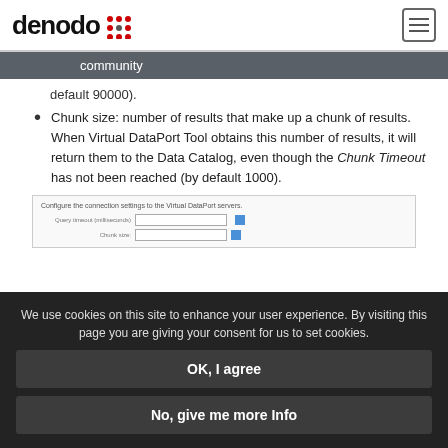denodo [logo] | hamburger menu
community
default 90000).
Chunk size: number of results that make up a chunk of results. When Virtual DataPort Tool obtains this number of results, it will return them to the Data Catalog, even though the Chunk Timeout has not been reached (by default 1000).
[Figure (screenshot): Configure the connection settings to the Virtual DataPort servers dialog with fields for Query timeout and Chunk size with blue input fields and buttons]
We use cookies on this site to enhance your user experience. By visiting this page you are giving your consent for us to set cookies.
OK, I agree
No, give me more Info